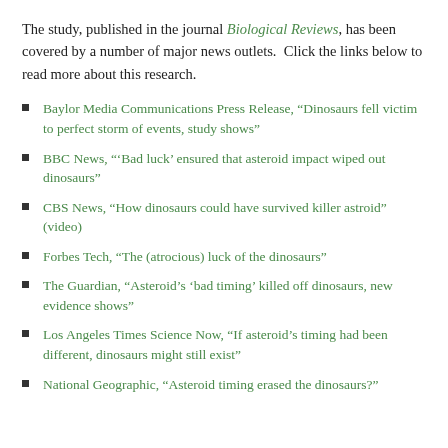The study, published in the journal Biological Reviews, has been covered by a number of major news outlets. Click the links below to read more about this research.
Baylor Media Communications Press Release, “Dinosaurs fell victim to perfect storm of events, study shows”
BBC News, “‘Bad luck’ ensured that asteroid impact wiped out dinosaurs”
CBS News, “How dinosaurs could have survived killer astroid” (video)
Forbes Tech, “The (atrocious) luck of the dinosaurs”
The Guardian, “Asteroid’s ‘bad timing’ killed off dinosaurs, new evidence shows”
Los Angeles Times Science Now, “If asteroid’s timing had been different, dinosaurs might still exist”
National Geographic, “Asteroid timing erased the dinosaurs?”